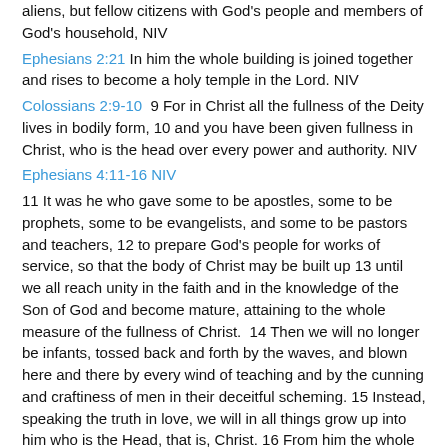aliens, but fellow citizens with God's people and members of God's household, NIV
Ephesians 2:21 In him the whole building is joined together and rises to become a holy temple in the Lord. NIV
Colossians 2:9-10  9 For in Christ all the fullness of the Deity lives in bodily form, 10 and you have been given fullness in Christ, who is the head over every power and authority. NIV
Ephesians 4:11-16 NIV
11 It was he who gave some to be apostles, some to be prophets, some to be evangelists, and some to be pastors and teachers, 12 to prepare God's people for works of service, so that the body of Christ may be built up 13 until we all reach unity in the faith and in the knowledge of the Son of God and become mature, attaining to the whole measure of the fullness of Christ.  14 Then we will no longer be infants, tossed back and forth by the waves, and blown here and there by every wind of teaching and by the cunning and craftiness of men in their deceitful scheming. 15 Instead, speaking the truth in love, we will in all things grow up into him who is the Head, that is, Christ. 16 From him the whole body, joined and held together by every supporting ligament, grows and builds itself up in love, as each part does its work.